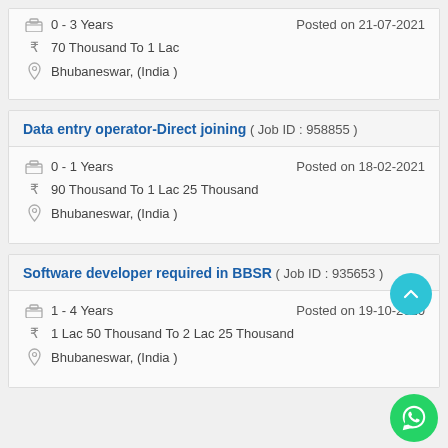0 - 3 Years   Posted on 21-07-2021
70 Thousand To 1 Lac
Bhubaneswar, (India )
Data entry operator-Direct joining  ( Job ID : 958855 )
0 - 1 Years   Posted on 18-02-2021
90 Thousand To 1 Lac 25 Thousand
Bhubaneswar, (India )
Software developer required in BBSR  ( Job ID : 935653 )
1 - 4 Years   Posted on 19-10-2020
1 Lac 50 Thousand To 2 Lac 25 Thousand
Bhubaneswar, (India )